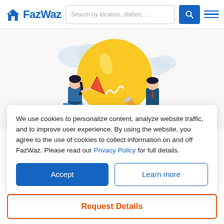[Figure (logo): FazWaz logo with blue house icon and blue text]
[Figure (screenshot): Search bar with placeholder text 'Search by location, station, ...' and blue search button icon, plus hamburger menu icon]
[Figure (illustration): Illustration of two people with a large yellow lightbulb, clouds in background. Woman on left sitting on stool holding a triangle ruler, man on right holding a large pencil pointing at the lightbulb.]
We use cookies to personalize content, analyze website traffic, and to improve user experience. By using the website, you agree to the use of cookies to collect information on and off FazWaz. Please read our Privacy Policy for full details.
Accept
Learn more
Request Details